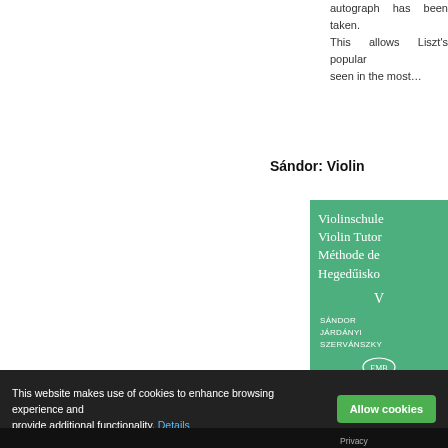autograph has been taken. This allows Liszt's popularity seen in the most…
Sándor: Violin
[Figure (photo): Book cover of Violinschule / Violin Tutor / Méthode de / Hegedűiisko, volume V, by Sándor, Járdányi, Szervánszky, with green cover and EMB logo]
This website makes use of cookies to enhance browsing experience and provide additional functionality. Details
Allow cookies